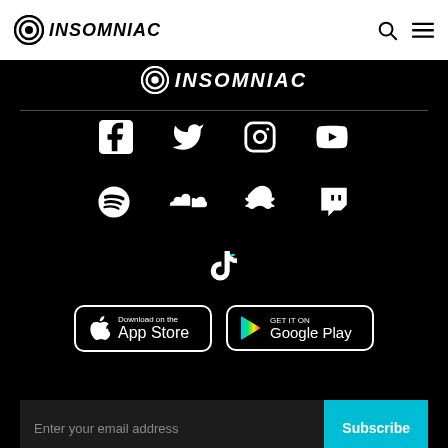Insomniac - header navigation bar with logo, search, and menu icons
[Figure (logo): Insomniac logo centered on black background with eye icon and INSOMNIAC text]
[Figure (infographic): Social media icons: Facebook, Twitter, Instagram, YouTube, Spotify, SoundCloud, Snapchat, Twitch, TikTok on black background]
[Figure (infographic): App store download buttons: Download on the App Store and GET IT ON Google Play]
Enter your email address
Subscribe